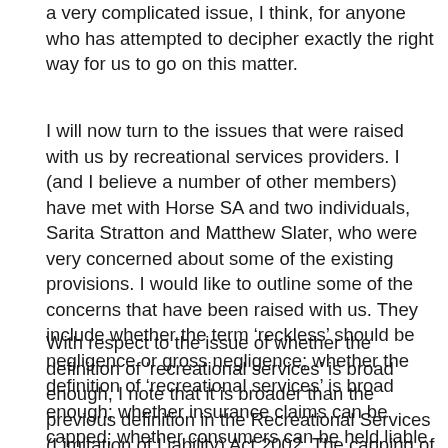a very complicated issue, I think, for anyone who has attempted to decipher exactly the right way for us to go on this matter.
I will now turn to the issues that were raised with us by recreational services providers. I (and I believe a number of other members) have met with Horse SA and two individuals, Sarita Stratton and Matthew Slater, who were very concerned about some of the existing provisions. I would like to outline some of the concerns that have been raised with us. They include whether the term 'reckless' should be negligence or gross negligence; whether the definition of 'recreational services' is broad enough; whether insurance claims can be capped; whether consumers can be held liable for their own reckless or negligent behaviour; and the matter of waiving the rights of children.
With respect to the issue of whether the definition of 'recreational services' is broad enough, I note that it is broader than the previous definition in the Recreational Services (Limitation of Liability) Act 2002. The capping of claimable amounts, I think, is probably a very